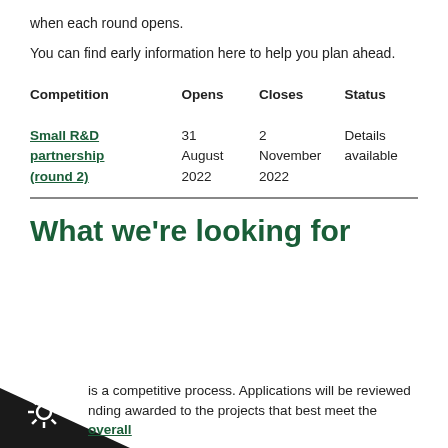when each round opens.
You can find early information here to help you plan ahead.
| Competition | Opens | Closes | Status |
| --- | --- | --- | --- |
| Small R&D partnership (round 2) | 31 August 2022 | 2 November 2022 | Details available |
What we’re looking for
is a competitive process. Applications will be reviewed nding awarded to the projects that best meet the overall